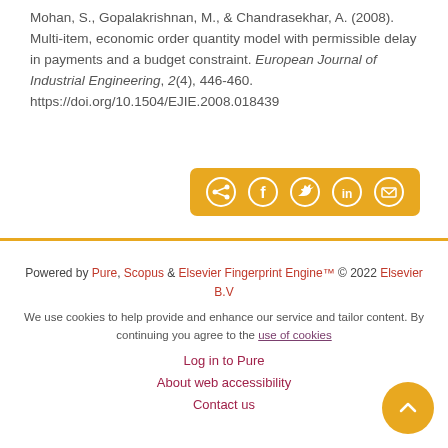Mohan, S., Gopalakrishnan, M., & Chandrasekhar, A. (2008). Multi-item, economic order quantity model with permissible delay in payments and a budget constraint. European Journal of Industrial Engineering, 2(4), 446-460. https://doi.org/10.1504/EJIE.2008.018439
[Figure (other): Social share bar with share, Facebook, Twitter, LinkedIn, and email icons on an orange/yellow background]
Powered by Pure, Scopus & Elsevier Fingerprint Engine™ © 2022 Elsevier B.V
We use cookies to help provide and enhance our service and tailor content. By continuing you agree to the use of cookies
Log in to Pure
About web accessibility
Contact us